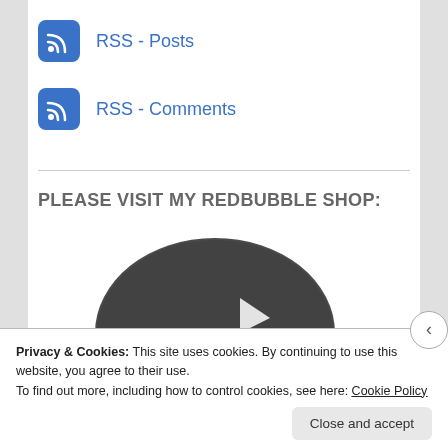RSS - Posts
RSS - Comments
PLEASE VISIT MY REDBUBBLE SHOP:
[Figure (illustration): Partial view of a dark grey vinyl record / circular disc logo for Redbubble shop]
Privacy & Cookies: This site uses cookies. By continuing to use this website, you agree to their use.
To find out more, including how to control cookies, see here: Cookie Policy
Close and accept